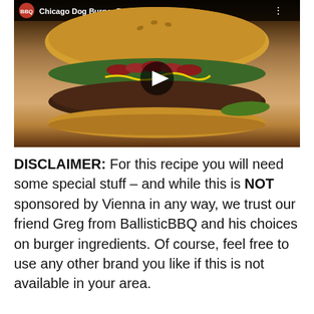[Figure (screenshot): Video thumbnail of a Chicago Dog Burger Recipe from BallisticBBQ, showing a large burger with hot dog slices, mustard, and toppings on a wooden surface, with a play button overlay]
DISCLAIMER: For this recipe you will need some special stuff – and while this is NOT sponsored by Vienna in any way, we trust our friend Greg from BallisticBBQ and his choices on burger ingredients. Of course, feel free to use any other brand you like if this is not available in your area.
So, let's get started! Get yourself a patty mold (a large enough cookie mold will do), or form a patty by hand. Remember, use enough pressure to keep